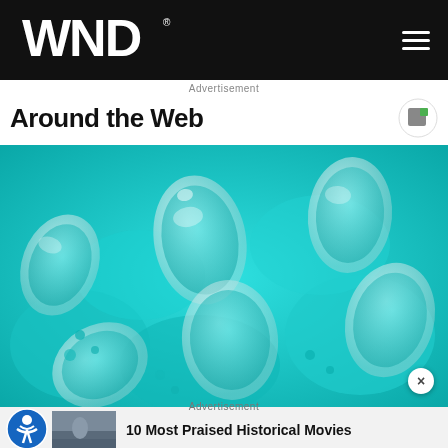WND
Advertisement
Around the Web
[Figure (photo): Close-up photo of multiple clear capsule pills filled with bright teal/turquoise blue granules, scattered together in a pile]
Advertisement
10 Most Praised Historical Movies